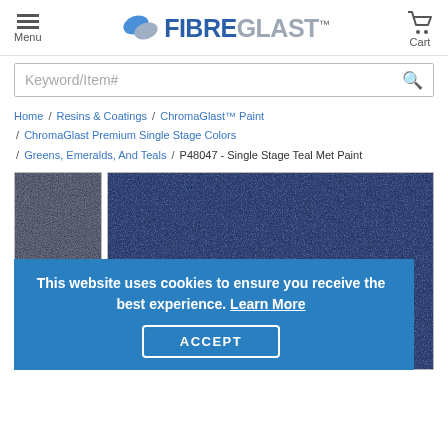Menu | FIBREGLAST™ | Cart
Keyword/Item#
Home / Resins & Coatings / ChromaGlast™ Paint / ChromaGlast Premium Single Stage Colors / Greens, Emeralds, And Teals / P48047 - Single Stage Teal Met Paint
[Figure (photo): Product images of Fibre Glast 800 ChromaGlast Premium Single Stage Paint cans with dark teal metallic paint color swatch]
This website uses cookies to ensure you receive the best experience. Learn More
ACCEPT